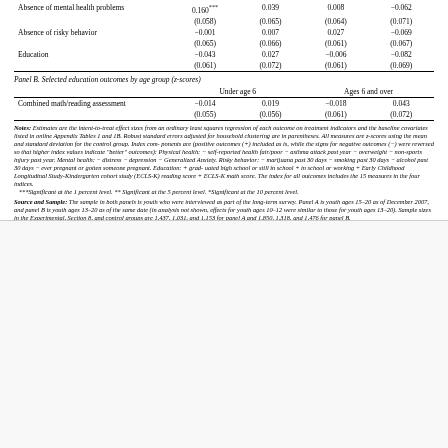|  | Under age 6 col1 | Under age 6 col2 | Ages 6 and over col1 | Ages 6 and over col2 |
| --- | --- | --- | --- | --- |
| Absence of mental health problems | 0.160*** | 0.039 | 0.008 | -0.062 |
|  | (0.058) | (0.065) | (0.064) | (0.071) |
| Absence of risky behavior | -0.001 | 0.007 | 0.027 | -0.069 |
|  | (0.065) | (0.066) | (0.061) | (0.067) |
| Education | -0.043 | 0.027 | -0.006 | -0.082 |
|  | (0.061) | (0.072) | (0.061) | (0.069) |
| Panel B. Selected education outcomes by age group (z-scores) |  |  |  |  |
|  | Under age 6 col1 | Under age 6 col2 | Ages 6 and over col1 | Ages 6 and over col2 |
| Combined math/reading assessment | -0.014 | 0.019 | -0.018 | 0.043 |
|  | (0.055) | (0.056) | (0.061) | (0.072) |
Notes: Estimates are the intent-to-treat effect sizes from an ordinary least squares regression of each outcome on treatment indicators and the baseline covariates listed in online Appendix Tables 1 and 1B. Robust standard errors adjusted for household clustering are in parentheses. All measures are z-scores using the mean and standard deviation for the control group. Index components are (positive outcomes (+) included as is, while the signs for negative outcomes (-) were reversed so that higher index values indicate "better" outcomes): Physical health: - self-reported health fair/poor - asthma attack past year - overweight - non-sports injury past year. Mental health: - distress - depression - Generalized Anxiety. Risky behavior: - marijuana past 30 days - smoking past 30 days - alcohol past 30 days - ever pregnant or gotten someone pregnant. Education: + graduated high school or still in school + in school or working + Early Childhood Longitudinal Study-Kindergarten cohort study (ECLS-K) reading score + ECLS-K math score. The index for all outcomes includes the 15 measures in the four indices. ***Significant at the 1 percent level. ** Significant at the 5 percent level. *Significant at the 10 percent level.
Source and Sample: The sample in both panels is youth who were interviewed as part of the long-term survey. Panel A is youth ages 15-20 as of December 2007, and panel B is youth ages 13-20 as of the same date (in analysis not shown, effects for youth ages 10-12 were similar to those for youth ages 13-20). Sample sizes in the Experimental, Section 8, and control groups are 1,437, 1,031, and 1,153 for panel A and 1,850, 1,318, and 1,476 for panel B.
[Figure (continuous-plot): Density plot showing three overlapping distributions: Experimental group compliers (dotted line, narrow peak around x=20), Section 8 group compliers (dash-dot line, medium peak around x=35), and Control group (solid line, broad bimodal distribution peaking around x=40-50). X-axis ranges from 0 to 100, Y-axis (Density) from 0 to 0.05.]